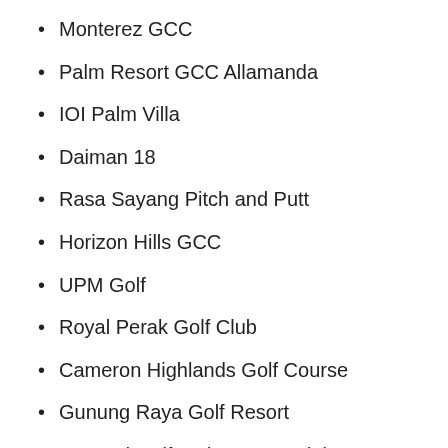Monterez GCC
Palm Resort GCC Allamanda
IOI Palm Villa
Daiman 18
Rasa Sayang Pitch and Putt
Horizon Hills GCC
UPM Golf
Royal Perak Golf Club
Cameron Highlands Golf Course
Gunung Raya Golf Resort
Harvard Golf and Country Club